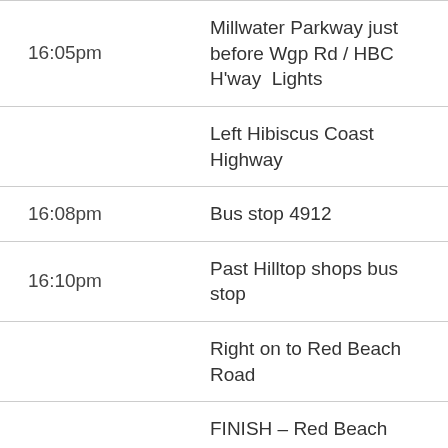| Time | Description |
| --- | --- |
| 16:05pm | Millwater Parkway just before Wgp Rd / HBC H'way  Lights |
|  | Left Hibiscus Coast Highway |
| 16:08pm | Bus stop 4912 |
| 16:10pm | Past Hilltop shops bus stop |
|  | Right on to Red Beach Road |
| 16:15pm | FINISH – Red Beach Shops – Layby outside 4 Square |